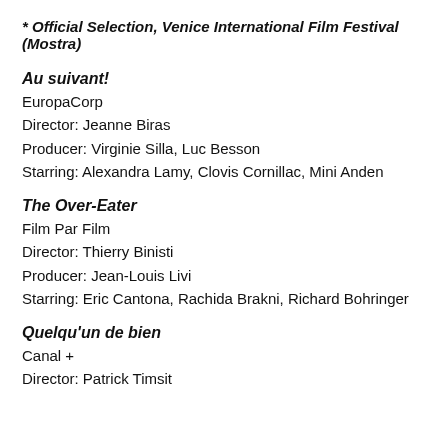* Official Selection, Venice International Film Festival (Mostra)
Au suivant!
EuropaCorp
Director: Jeanne Biras
Producer: Virginie Silla, Luc Besson
Starring: Alexandra Lamy, Clovis Cornillac, Mini Anden
The Over-Eater
Film Par Film
Director: Thierry Binisti
Producer: Jean-Louis Livi
Starring: Eric Cantona, Rachida Brakni, Richard Bohringer
Quelqu'un de bien
Canal +
Director: Patrick Timsit